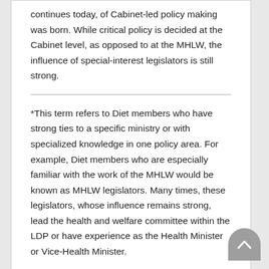continues today, of Cabinet-led policy making was born. While critical policy is decided at the Cabinet level, as opposed to at the MHLW, the influence of special-interest legislators is still strong.
*This term refers to Diet members who have strong ties to a specific ministry or with specialized knowledge in one policy area. For example, Diet members who are especially familiar with the work of the MHLW would be known as MHLW legislators. Many times, these legislators, whose influence remains strong, lead the health and welfare committee within the LDP or have experience as the Health Minister or Vice-Health Minister.